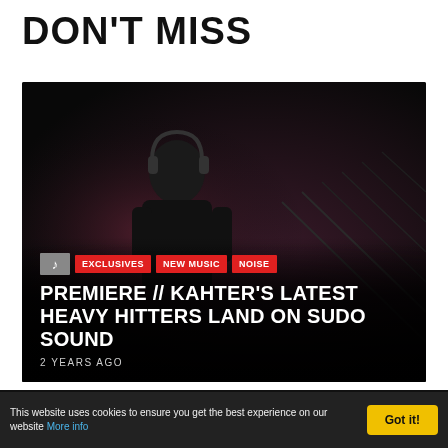DON'T MISS
[Figure (photo): Dark atmospheric photo card showing a person with headphones in a dark corridor with stairs, overlaid with category tags EXCLUSIVES, NEW MUSIC, NOISE and headline text]
PREMIERE // KAHTER'S LATEST HEAVY HITTERS LAND ON SUDO SOUND
2 YEARS AGO
[Figure (photo): Partially visible bottom strip showing another article preview with dark background and yellow/white text]
This website uses cookies to ensure you get the best experience on our website More info